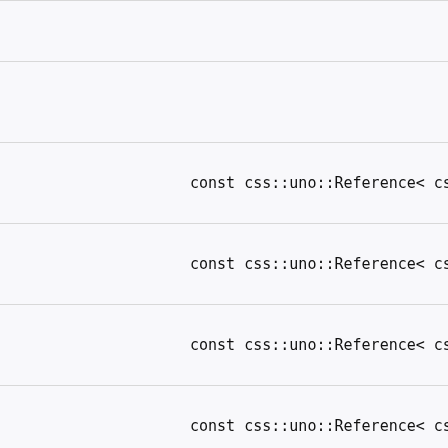const css::uno::Reference< css::io::XObj
const css::uno::Reference< css::io::XOb
const css::uno::Reference< css::io::XOb
const css::uno::Reference< css::io::XObj
const css::uno::Reference< css::io::XOb